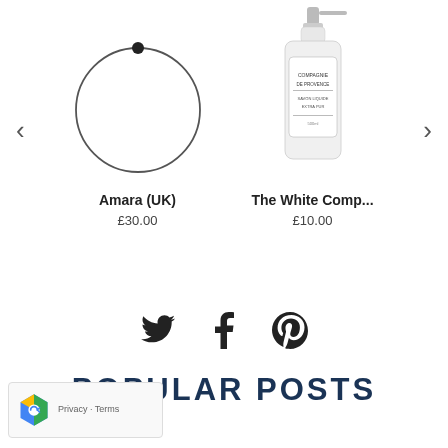[Figure (other): Product carousel showing two items: a thin circular bracelet from Amara (UK) priced at £30.00, and a soap/lotion bottle from The White Comp... priced at £10.00, with left and right navigation arrows]
Amara (UK)
£30.00
The White Comp...
£10.00
[Figure (other): Social sharing icons: Twitter bird, Facebook f, Pinterest P]
POPULAR POSTS